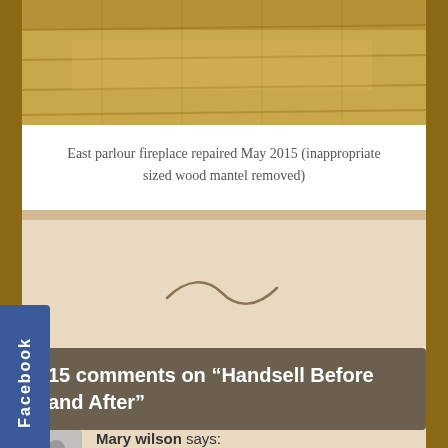[Figure (photo): Wood floor / fireplace area photo]
East parlour fireplace repaired May 2015 (inappropriate sized wood mantel removed)
[Figure (illustration): Tilde/wave decorative separator]
15 comments on “Handsell Before and After”
Mary wilson says:
August 18, 2016 at 6:21 pm
My husband and I came upon this house today. I